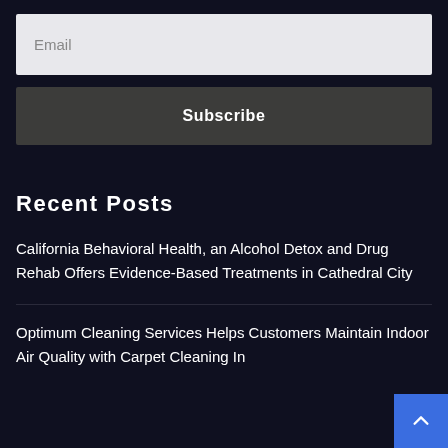[Figure (other): Email input field with placeholder text 'Email' on a light gray background]
[Figure (other): Subscribe button with dark gray background and white bold text 'Subscribe']
Recent Posts
California Behavioral Health, an Alcohol Detox and Drug Rehab Offers Evidence-Based Treatments in Cathedral City
Optimum Cleaning Services Helps Customers Maintain Indoor Air Quality with Carpet Cleaning In